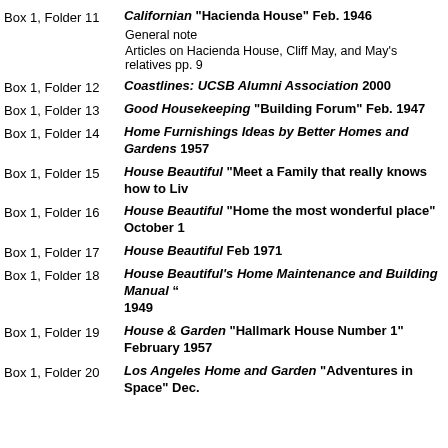Box 1, Folder 11 | Californian "Hacienda House" Feb. 1946 | General note | Articles on Hacienda House, Cliff May, and May's relatives pp. 9
Box 1, Folder 12 | Coastlines: UCSB Alumni Association 2000
Box 1, Folder 13 | Good Housekeeping "Building Forum" Feb. 1947
Box 1, Folder 14 | Home Furnishings Ideas by Better Homes and Gardens 1957
Box 1, Folder 15 | House Beautiful "Meet a Family that really knows how to Live"
Box 1, Folder 16 | House Beautiful "Home the most wonderful place" October
Box 1, Folder 17 | House Beautiful Feb 1971
Box 1, Folder 18 | House Beautiful's Home Maintenance and Building Manual " 1949
Box 1, Folder 19 | House & Garden "Hallmark House Number 1" February 1957
Box 1, Folder 20 | Los Angeles Home and Garden "Adventures in Space" Dec.